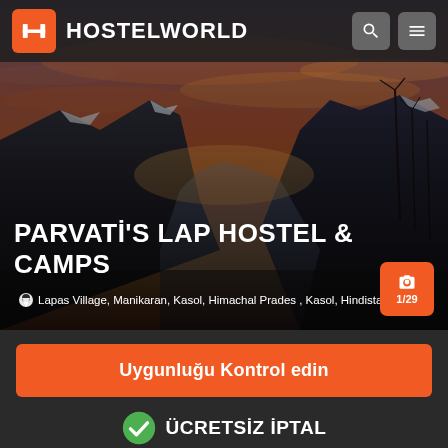[Figure (screenshot): Hostelworld mobile app page showing hero image of mountain sunset landscape with Parvati Valley, India]
HOSTELWORLD
PARVATİ'S LAP HOSTEL & CAMPS
Lapas Village, Manikaran, Kasol, Himachal Prades , Kasol, Hindistan
1/29
Uygunluğu Kontrol edin
ÜCRETSİZ İPTAL